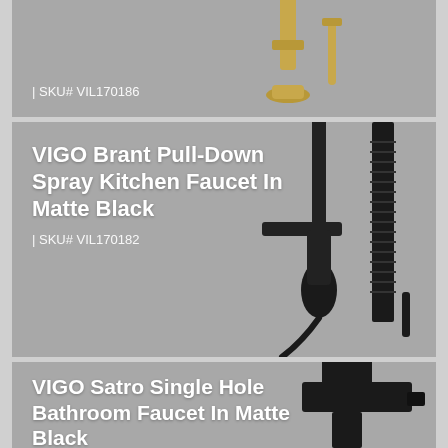[Figure (photo): Top card: partial view of a VIGO faucet in brushed gold/brass finish on grey background. SKU label visible.]
| SKU# VIL170186
[Figure (photo): Middle card: VIGO Brant Pull-Down Spray Kitchen Faucet in Matte Black shown on grey background with faucet silhouette visible on right side.]
VIGO Brant Pull-Down Spray Kitchen Faucet In Matte Black
| SKU# VIL170182
[Figure (photo): Bottom card: VIGO Satro Single Hole Bathroom Faucet in Matte Black shown on grey background.]
VIGO Satro Single Hole Bathroom Faucet In Matte Black
| SKU# VIL170166